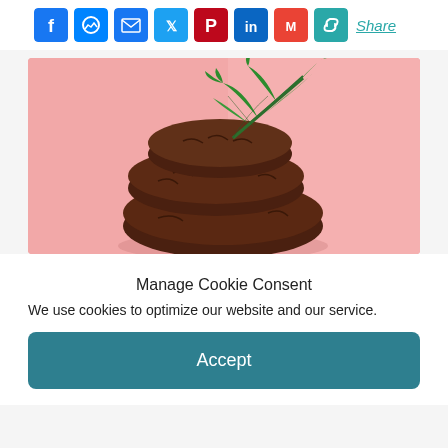[Figure (other): Social media share bar with icons: Facebook (blue), Messenger (blue), Email (blue), Twitter (blue), Pinterest (red), LinkedIn (teal), Gmail (red), Copy link (teal), and Share text link]
[Figure (photo): Three stacked chocolate crinkle cookies with a cannabis leaf on top, on a pink background]
Manage Cookie Consent
We use cookies to optimize our website and our service.
Accept